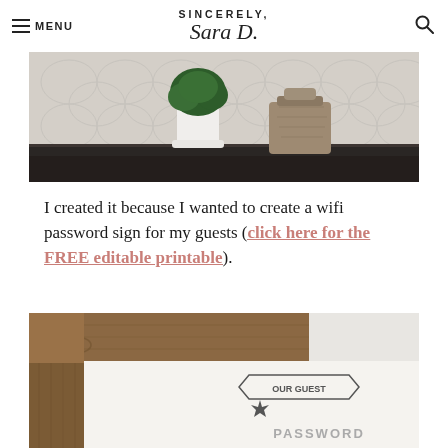SINCERELY, Sara D.
[Figure (photo): A dark wooden shelf with a small white potted green plant and a rustic wooden lamp base on a patterned grey and white wallpaper background.]
I created it because I wanted to create a wifi password sign for my guests (click here for the FREE editable printable).
[Figure (photo): Close-up of a rustic wooden framed sign with a banner graphic reading 'OUR GUEST PASSWORD' on a white background.]